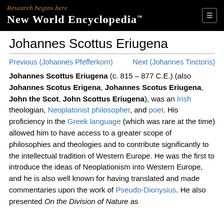Research begins here — New World Encyclopedia™
Johannes Scottus Eriugena
Previous (Johannes Pfefferkorn)    Next (Johannes Tinctoris)
Johannes Scottus Eriugena (c. 815 – 877 C.E.) (also Johannes Scotus Erigena, Johannes Scotus Eriugena, John the Scot, John Scottus Eriugena), was an Irish theologian, Neoplatonist philosopher, and poet. His proficiency in the Greek language (which was rare at the time) allowed him to have access to a greater scope of philosophies and theologies and to contribute significantly to the intellectual tradition of Western Europe. He was the first to introduce the ideas of Neoplationism into Western Europe, and he is also well known for having translated and made commentaries upon the work of Pseudo-Dionysius. He also presented On the Division of Nature as